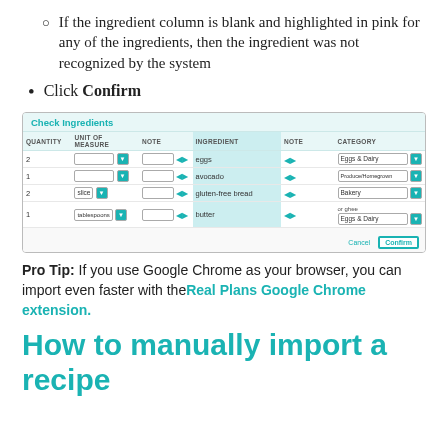If the ingredient column is blank and highlighted in pink for any of the ingredients, then the ingredient was not recognized by the system
Click Confirm
[Figure (screenshot): Check Ingredients dialog box showing a table with columns: QUANTITY, UNIT OF MEASURE, NOTE, INGREDIENT (highlighted teal), NOTE, CATEGORY. Rows: 2 eggs (Eggs & Dairy), 1 avocado (Produce/Homegrown), 2 slice gluten-free bread (Bakery), 1 tablespoons butter or ghee (Eggs & Dairy). Cancel and Confirm buttons at bottom right.]
Pro Tip: If you use Google Chrome as your browser, you can import even faster with the Real Plans Google Chrome extension.
How to manually import a recipe